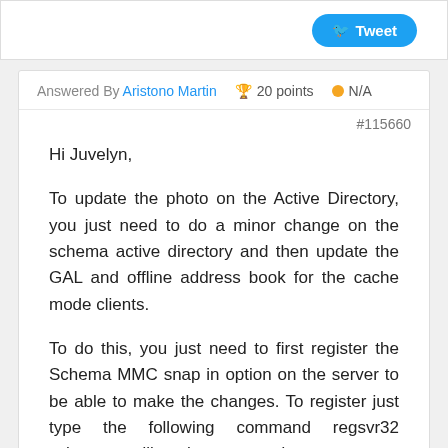[Figure (screenshot): Twitter Tweet button in a white bar]
Answered By Aristono Martin  🏆 20 points  ● N/A
#115660
Hi Juvelyn,

To update the photo on the Active Directory, you just need to do a minor change on the schema active directory and then update the GAL and offline address book for the cache mode clients.

To do this, you just need to first register the Schema MMC snap in option on the server to be able to make the changes. To register just type the following command regsvr32 schmmgmt.dll on the command prompt.

You then need to go to Star > Run > MMC > Add Schema snap in.

Then on Active Directory Schema snap in, expand the attributes nodes option and then look for the thumbnail